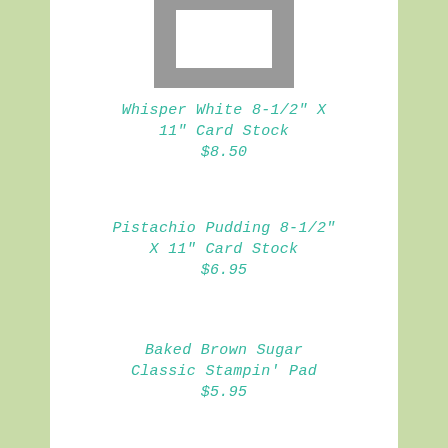[Figure (photo): Card stock paper sample showing grey card with white rectangle on top]
Whisper White 8-1/2" X 11" Card Stock
$8.50
Pistachio Pudding 8-1/2" X 11" Card Stock
$6.95
Baked Brown Sugar Classic Stampin' Pad
$5.95